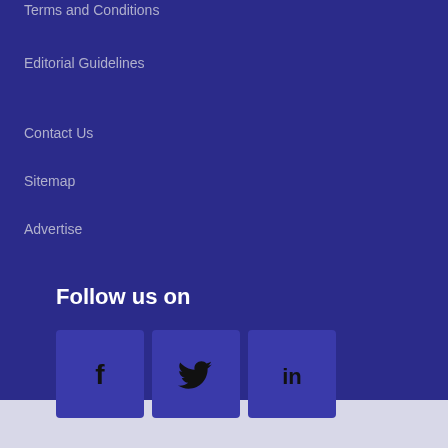Terms and Conditions
Editorial Guidelines
Contact Us
Sitemap
Advertise
Follow us on
[Figure (illustration): Social media icons: Facebook, Twitter, LinkedIn]